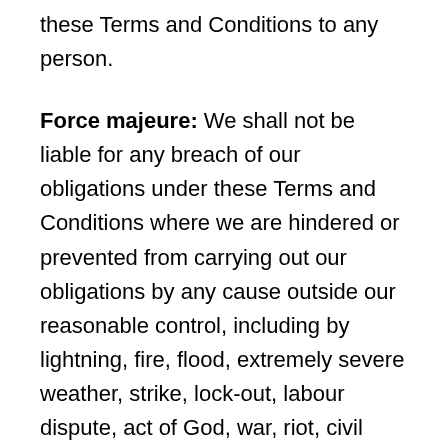these Terms and Conditions to any person.
Force majeure: We shall not be liable for any breach of our obligations under these Terms and Conditions where we are hindered or prevented from carrying out our obligations by any cause outside our reasonable control, including by lightning, fire, flood, extremely severe weather, strike, lock-out, labour dispute, act of God, war, riot, civil commotion, malicious damage, failure of any telecommunications or computer system, compliance with any law, accident (or by